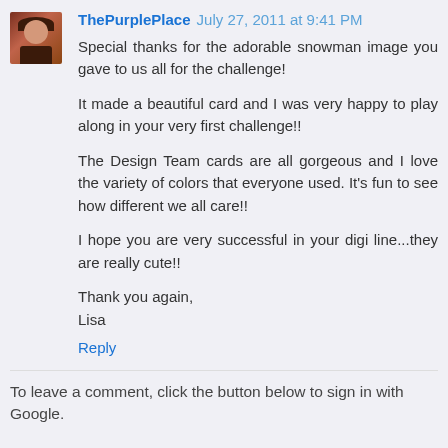[Figure (photo): Small avatar photo of a woman with brown hair]
ThePurplePlace July 27, 2011 at 9:41 PM
Special thanks for the adorable snowman image you gave to us all for the challenge!

It made a beautiful card and I was very happy to play along in your very first challenge!!

The Design Team cards are all gorgeous and I love the variety of colors that everyone used. It's fun to see how different we all care!!

I hope you are very successful in your digi line...they are really cute!!

Thank you again,
Lisa
Reply
To leave a comment, click the button below to sign in with Google.